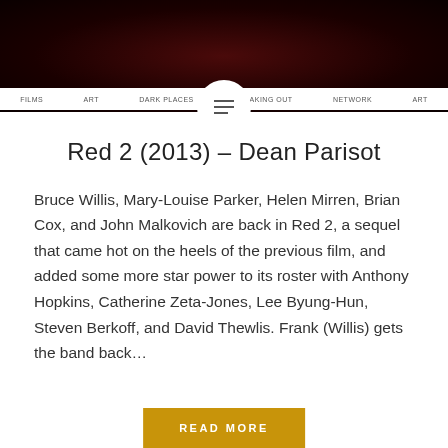[Figure (photo): Dark reddish header image with cinematic/film theme background]
Red 2 (2013) – Dean Parisot
Bruce Willis, Mary-Louise Parker, Helen Mirren, Brian Cox, and John Malkovich are back in Red 2, a sequel that came hot on the heels of the previous film, and added some more star power to its roster with Anthony Hopkins, Catherine Zeta-Jones, Lee Byung-Hun, Steven Berkoff, and David Thewlis. Frank (Willis) gets the band back…
READ MORE